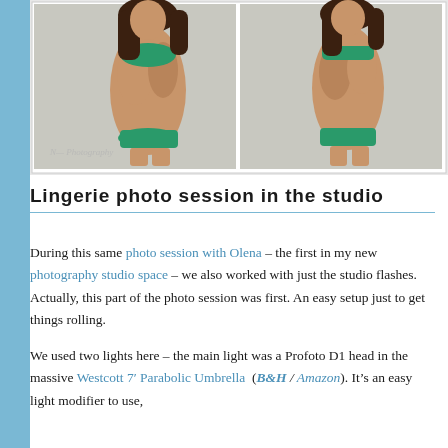[Figure (photo): Two side-by-side studio portrait photographs of a woman in green lingerie against a light grey/white background. Left image shows her facing slightly left, right image shows her from a different angle. Both are black-and-white background with the subject in color. A photographer's watermark/signature is visible in the lower left of the left photo.]
Lingerie photo session in the studio
During this same photo session with Olena – the first in my new photography studio space – we also worked with just the studio flashes. Actually, this part of the photo session was first. An easy setup just to get things rolling.
We used two lights here – the main light was a Profoto D1 head in the massive Westcott 7' Parabolic Umbrella (B&H / Amazon). It's an easy light modifier to use,